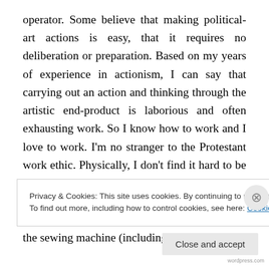operator. Some believe that making political-art actions is easy, that it requires no deliberation or preparation. Based on my years of experience in actionism, I can say that carrying out an action and thinking through the artistic end-product is laborious and often exhausting work. So I know how to work and I love to work. I'm no stranger to the Protestant work ethic. Physically, I don't find it hard to be a seamstress. And that is what I am. I do everything required of me. But, of course, I cannot help thinking about things while I'm at the sewing machine (including the road to rehabilitation) and, therefore, asking myself questions
Privacy & Cookies: This site uses cookies. By continuing to use this website, you agree to their use. To find out more, including how to control cookies, see here: Cookie Policy